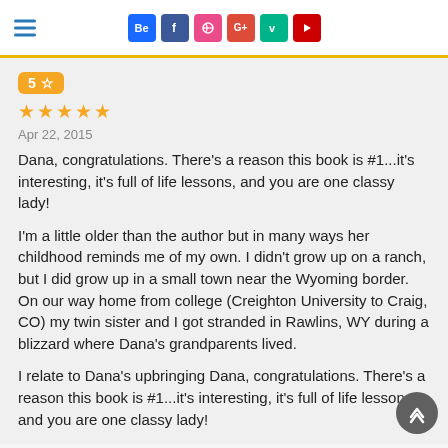Navigation and social icons header
5 ☆
★★★★★
Apr 22, 2015
Dana, congratulations. There's a reason this book is #1...it's interesting, it's full of life lessons, and you are one classy lady!
I'm a little older than the author but in many ways her childhood reminds me of my own. I didn't grow up on a ranch, but I did grow up in a small town near the Wyoming border. On our way home from college (Creighton University to Craig, CO) my twin sister and I got stranded in Rawlins, WY during a blizzard where Dana's grandparents lived.
I relate to Dana's upbringing Dana, congratulations. There's a reason this book is #1...it's interesting, it's full of life lessons, and you are one classy lady!
I'm a little older than the author but in many ways her childhood reminds me of my own. I didn't grow up on a ranch, but I did gro...